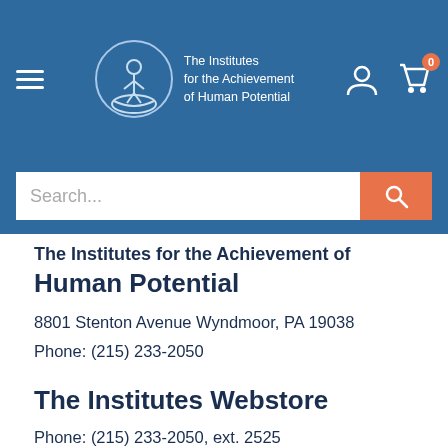[Figure (logo): The Institutes for the Achievement of Human Potential logo with circular emblem showing a figure on a hand, white text on blue header background]
The Institutes for the Achievement of Human Potential
8801 Stenton Avenue Wyndmoor, PA 19038
Phone: (215) 233-2050
The Institutes Webstore
Phone: (215) 233-2050, ext. 2525
Toll-free: 866-895-KIDS (5437)
Email: order@gentlerevolution.com